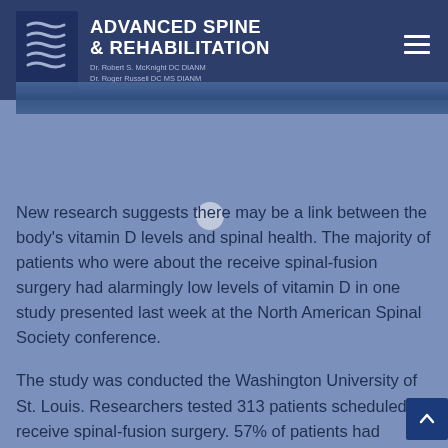ADVANCED SPINE & REHABILITATION — Dr. Robert S. McKnight DC DIANM — Dr. Roger Russell DC MS DIANM
[Figure (photo): Header banner image strip showing a blurred spinal/back image]
New research suggests there may be a link between the body's vitamin D levels and spinal health. The majority of patients who were about the receive spinal-fusion surgery had alarmingly low levels of vitamin D in one study presented last week at the North American Spinal Society conference.
The study was conducted the Washington University of St. Louis. Researchers tested 313 patients scheduled to receive spinal-fusion surgery. 57% of patients had